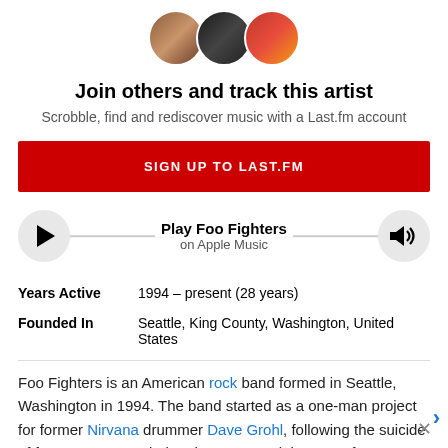[Figure (illustration): Three circular avatar profile photos overlapping slightly, showing three different people]
Join others and track this artist
Scrobble, find and rediscover music with a Last.fm account
SIGN UP TO LAST.FM
[Figure (infographic): Music player bar with play button circle on left, 'Play Foo Fighters on Apple Music' text in center, and volume icon circle on right]
Years Active  1994 – present (28 years)
Founded In  Seattle, King County, Washington, United States
Foo Fighters is an American rock band formed in Seattle, Washington in 1994. The band started as a one-man project for former Nirvana drummer Dave Grohl, following the suicide of frontman Kurt Cobain. The group took its name from "Foo...